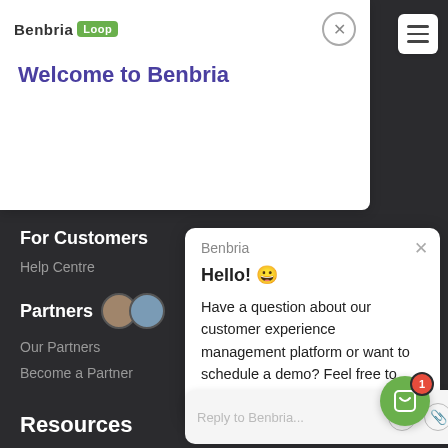[Figure (screenshot): Screenshot of Benbria Loop website with a chat popup overlay. Shows the Benbria logo with green 'Loop' badge, a 'Welcome to Benbria' heading in purple, a hamburger menu button, a dark navigation sidebar with 'For Customers', 'Help Centre', 'Partners', 'Our Partners', 'Become a Partner', and 'Resources' items, and a chat widget popup from 'Benbria' saying 'Hello! 😀 Have a question about our customer experience management platform or want to schedule a demo? Feel free to chat with us here. We love to help!' with a 'Reply to Benbria...' input field and a green chat FAB button with a red badge showing '1'.]